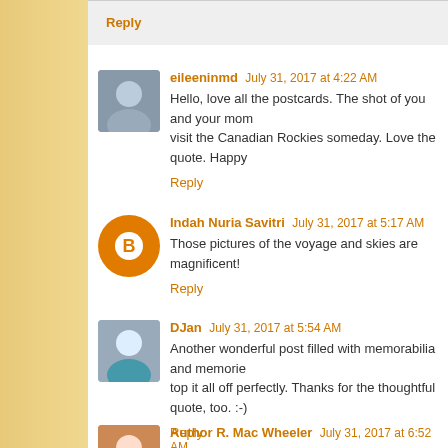Reply
eileeninmd  July 31, 2017 at 4:22 AM
Hello, love all the postcards. The shot of you and your mom... visit the Canadian Rockies someday. Love the quote. Happy...
Reply
Indah Nuria Savitri  July 31, 2017 at 5:17 AM
Those pictures of the voyage and skies are magnificent!
Reply
DJan  July 31, 2017 at 5:54 AM
Another wonderful post filled with memorabilia and memorie... top it all off perfectly. Thanks for the thoughtful quote, too. :-)
Reply
Author R. Mac Wheeler  July 31, 2017 at 6:52 AM